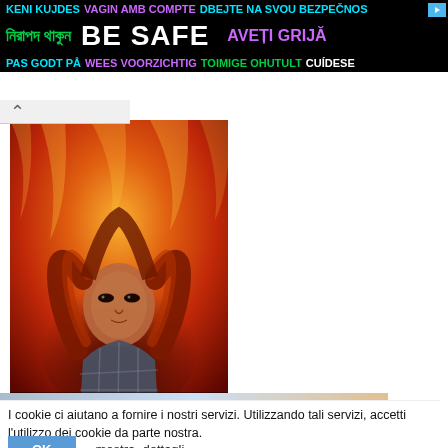[Figure (infographic): Multilingual safety ad banner with black background. Row 1: KENI KUJDES (cyan), VAGIN AMB COMPTE (purple), DBEJTE NA SVOU BEZPEČNOS (white/purple). Row 2: Bengali text (green), BE SAFE (large white bold), AVEȚI GRIJĂ (purple). Row 3: PAS GODT PÅ (cyan), WEES VOORZICHTIG (purple), TOIMIGE OHUTULT (green), CUÍDESE (white).]
[Figure (photo): Movie poster for Firestarter showing a young girl with red hair surrounded by flames with a defiant expression. Credits at bottom: SCOTT TEEMS, KEITH THOMAS.]
Firestarter
95 min
[Figure (screenshot): Partial ad strip at bottom showing an image with stars and Shenandoah branding, with Ad (arrow) and X buttons.]
I cookie ci aiutano a fornire i nostri servizi. Utilizzando tali servizi, accetti l'utilizzo dei cookie da parte nostra.
OK
mostra_dettagli